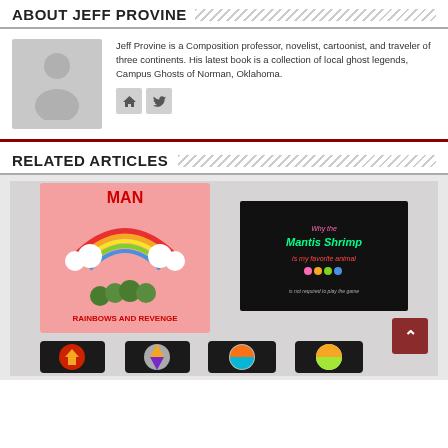ABOUT JEFF PROVINE
[Figure (illustration): Gray placeholder avatar silhouette of a person]
Jeff Provine is a Composition professor, novelist, cartoonist, and traveler of three continents. His latest book is a collection of local ghost legends, Campus Ghosts of Norman, Oklahoma.
[Figure (illustration): Social media buttons: home icon and Twitter bird icon]
RELATED ARTICLES
[Figure (photo): Photo showing board game boxes including one with a caterpillar and rainbow labeled 'Rainbows and Revenge' and a black book 'Why the Mantis Shrimp is my favorite animal', along with colorful game cards at the bottom]